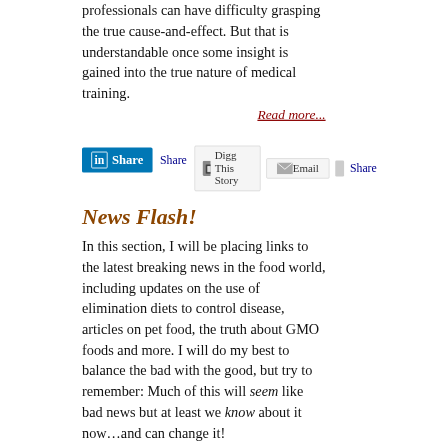professionals can have difficulty grasping the true cause-and-effect. But that is understandable once some insight is gained into the true nature of medical training.
Read more...
[Figure (other): LinkedIn Share button, Digg This Story button, Email button, Share link with small image]
News Flash!
In this section, I will be placing links to the latest breaking news in the food world, including updates on the use of elimination diets to control disease, articles on pet food, the truth about GMO foods and more. I will do my best to balance the bad with the good, but try to remember: Much of this will seem like bad news but at least we know about it now…and can change it!
With some of these stories, I will include a link to a blog entry so that you can comment on the article. This idea came to me after reading the first entry, which is a news flash that made my blood boil.
Read more...
[Figure (other): LinkedIn Share button at bottom of page]